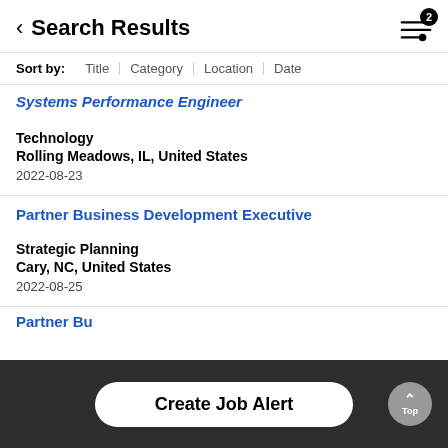Search Results
Sort by: Title | Category | Location | Date
Systems Performance Engineer
Technology
Rolling Meadows, IL, United States
2022-08-23
Partner Business Development Executive
Strategic Planning
Cary, NC, United States
2022-08-25
Partner Bu
Create Job Alert